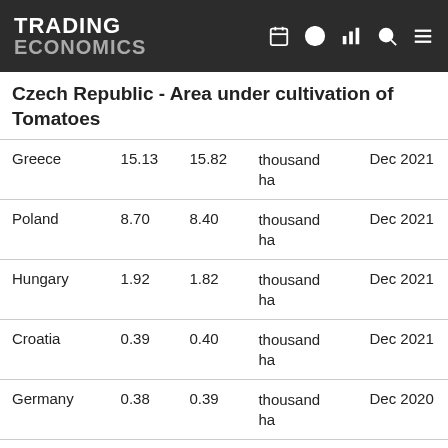TRADING ECONOMICS
Czech Republic - Area under cultivation of Tomatoes
| Country | Value | Previous | Unit | Date |
| --- | --- | --- | --- | --- |
| Greece | 15.13 | 15.82 | thousand ha | Dec 2021 |
| Poland | 8.70 | 8.40 | thousand ha | Dec 2021 |
| Hungary | 1.92 | 1.82 | thousand ha | Dec 2021 |
| Croatia | 0.39 | 0.40 | thousand ha | Dec 2021 |
| Germany | 0.38 | 0.39 | thousand ha | Dec 2020 |
| Czech Republic | 0.31 | 0.26 | thousand ha | Dec 2021 |